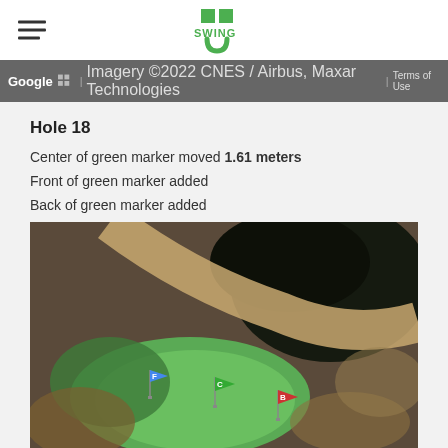[Figure (logo): SwingU logo with hamburger menu icon on the left and green SwingU logo in center]
[Figure (screenshot): Google Maps bar showing 'Google | Imagery ©2022 CNES / Airbus, Maxar Technologies | Terms of Use']
Hole 18
Center of green marker moved 1.61 meters
Front of green marker added
Back of green marker added
[Figure (map): Satellite aerial view of golf course hole 18 green with three flag markers: F (blue/front), C (green/center), B (red/back)]